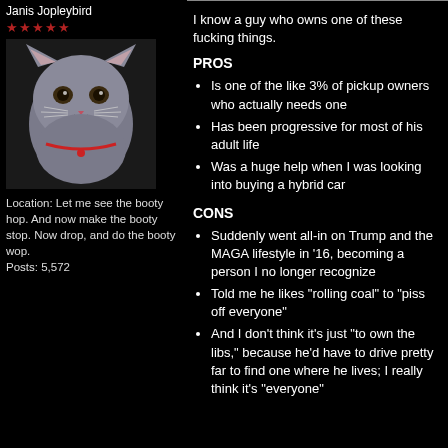Janis Jopleybird
★★★★★
[Figure (photo): Photo of a gray British Shorthair cat with its mouth open, on a black background]
Location: Let me see the booty hop. And now make the booty stop. Now drop, and do the booty wop.
Posts: 5,572
I know a guy who owns one of these fucking things.
PROS
Is one of the like 3% of pickup owners who actually needs one
Has been progressive for most of his adult life
Was a huge help when I was looking into buying a hybrid car
CONS
Suddenly went all-in on Trump and the MAGA lifestyle in '16, becoming a person I no longer recognize
Told me he likes "rolling coal" to "piss off everyone"
And I don't think it's just "to own the libs," because he'd have to drive pretty far to find one where he lives; I really think it's "everyone"